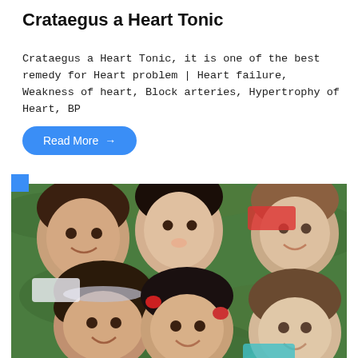Crataegus a Heart Tonic
Crataegus a Heart Tonic, it is one of the best remedy for Heart problem | Heart failure, Weakness of heart, Block arteries, Hypertrophy of Heart, BP
Read More →
[Figure (photo): Five children of diverse ethnicities lying on green grass in a circle, smiling and laughing, viewed from above]